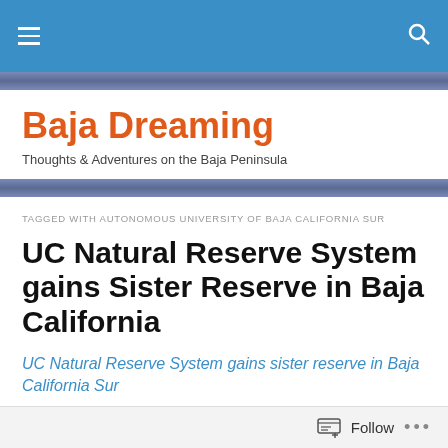Baja Dreaming — navigation bar
Baja Dreaming
Thoughts & Adventures on the Baja Peninsula
TAGGED WITH AUTONOMOUS UNIVERSITY OF BAJA CALIFORNIA SUR
UC Natural Reserve System gains Sister Reserve in Baja California
UC Natural Reserve System gains sister reserve in Baja California Sur
Follow